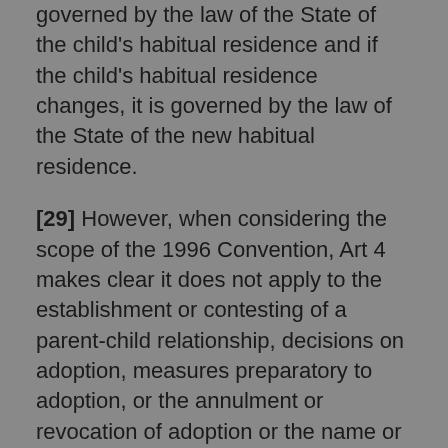governed by the law of the State of the child's habitual residence and if the child's habitual residence changes, it is governed by the law of the State of the new habitual residence.
[29] However, when considering the scope of the 1996 Convention, Art 4 makes clear it does not apply to the establishment or contesting of a parent-child relationship, decisions on adoption, measures preparatory to adoption, or the annulment or revocation of adoption or the name or forenames of the child. The combination of the Explanatory Report on the 1996 Hague Convention by Paul Lagarde (in particular para 28), the revised draft practical handbook on the 1996 Convention (May 2011) (in particular para 3.37) and the Practice Guide on the 1996 Convention published by the Ministry of Justice (February 2013) (in particular p 6) make clear Art 4 is to be interpreted widely and includes all aspects of the adoption process, including the placement of children for adoption.